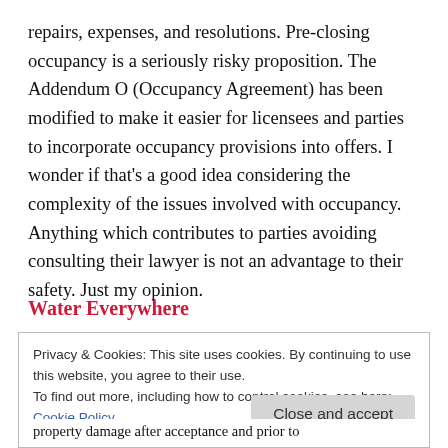repairs, expenses, and resolutions. Pre-closing occupancy is a seriously risky proposition. The Addendum O (Occupancy Agreement) has been modified to make it easier for licensees and parties to incorporate occupancy provisions into offers. I wonder if that's a good idea considering the complexity of the issues involved with occupancy. Anything which contributes to parties avoiding consulting their lawyer is not an advantage to their safety. Just my opinion.
Water Everywhere
Privacy & Cookies: This site uses cookies. By continuing to use this website, you agree to their use.
To find out more, including how to control cookies, see here:
Cookie Policy
property damage after acceptance and prior to